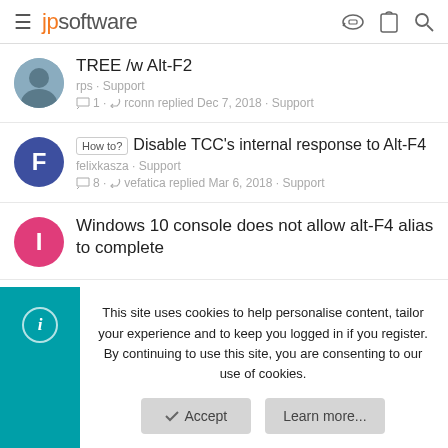jpsoftware
TREE /w Alt-F2
rps · Support
💬 1 · ↩ rconn replied Dec 7, 2018 · Support
How to? Disable TCC's internal response to Alt-F4
felixkasza · Support
💬 8 · ↩ vefatica replied Mar 6, 2018 · Support
Windows 10 console does not allow alt-F4 alias to complete
This site uses cookies to help personalise content, tailor your experience and to keep you logged in if you register.
By continuing to use this site, you are consenting to our use of cookies.